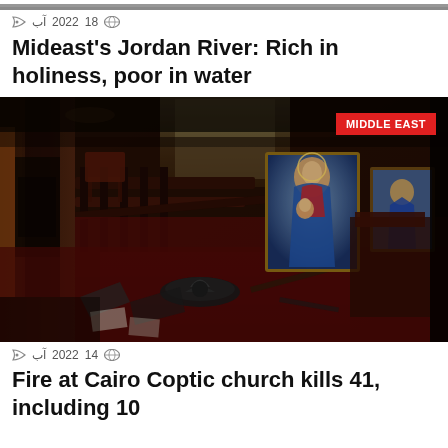[Figure (photo): Top cropped image of a scene (partially visible at top of page)]
آب 2022 18
Mideast's Jordan River: Rich in holiness, poor in water
[Figure (photo): Interior of a fire-damaged Coptic church showing burnt pews, scattered debris, and a religious icon (Virgin Mary with child) still standing amid the destruction. Tag: MIDDLE EAST]
آب 2022 14
Fire at Cairo Coptic church kills 41, including 10